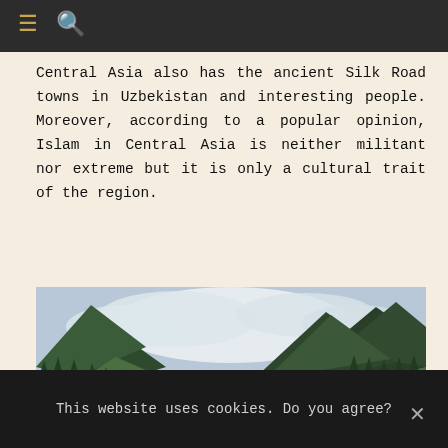[Navigation bar with menu and search icons]
Central Asia also has the ancient Silk Road towns in Uzbekistan and interesting people. Moreover, according to a popular opinion, Islam in Central Asia is neither militant nor extreme but it is only a cultural trait of the region.
[Figure (photo): A green mountain valley in Central Asia with forested slopes, a stream winding through the valley floor, low clouds hanging over the peaks, and two people with a horse in the foreground.]
This website uses cookies. Do you agree?